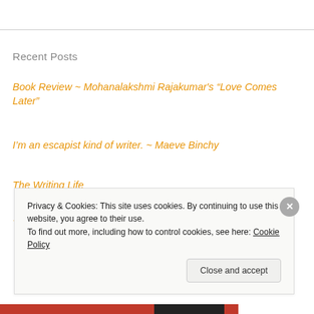Recent Posts
Book Review ~ Mohanalakshmi Rajakumar’s “Love Comes Later”
I’m an escapist kind of writer. ~ Maeve Binchy
The Writing Life
Privacy & Cookies: This site uses cookies. By continuing to use this website, you agree to their use.
To find out more, including how to control cookies, see here: Cookie Policy